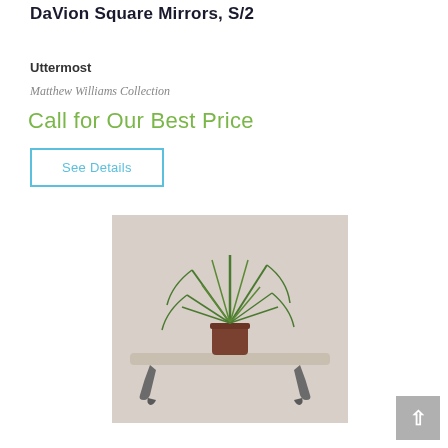DaVion Square Mirrors, S/2
Uttermost
Matthew Williams Collection
Call for Our Best Price
See Details
[Figure (photo): A decorative wall shelf with ornate metal brackets holding a potted green spider plant, mounted against a light beige wall.]